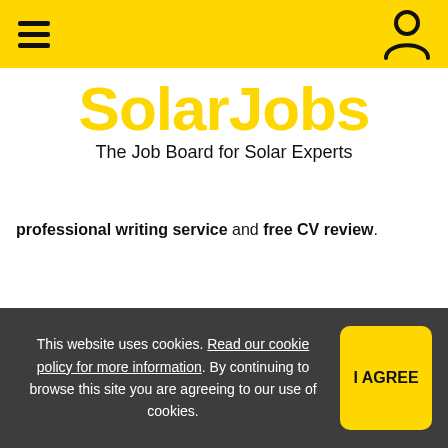SolarJobs navigation bar with hamburger menu and user icon
SolarJobs
The Job Board for Solar Experts
professional writing service and free CV review.
Featured Employers
This website uses cookies. Read our cookie policy for more information. By continuing to browse this site you are agreeing to our use of cookies.